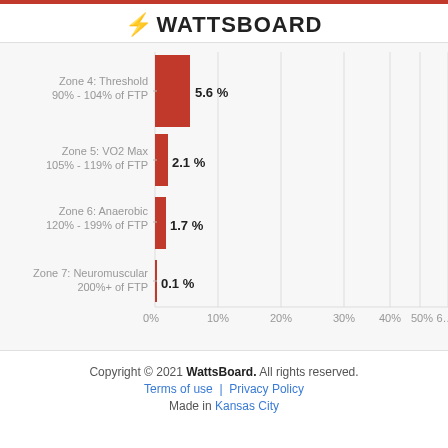[Figure (bar-chart): WattsBoard]
Copyright © 2021 WattsBoard. All rights reserved.
Terms of use | Privacy Policy
Made in Kansas City